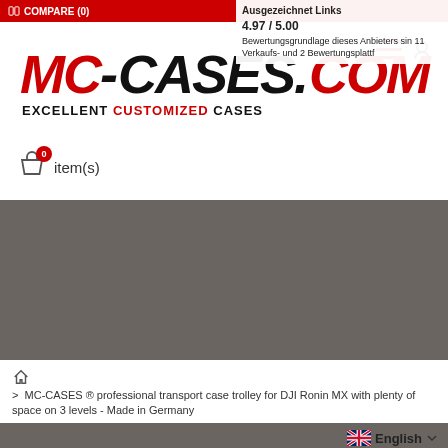COMPARE (0)
Ausgezeichnet Links 4.97 / 5.00 Bewertungsgrundlage dieses Anbieters sin 11 Verkaufs- und 2 Bewertungsplattf
[Figure (logo): MC-CASES.COM logo with tagline EXCELLENT CUSTOMIZED CASES]
0 item(s)
[Figure (photo): Dark gray/brown hero product image area]
> MC-CASES ® professional transport case trolley for DJI Ronin MX with plenty of space on 3 levels - Made in Germany
English